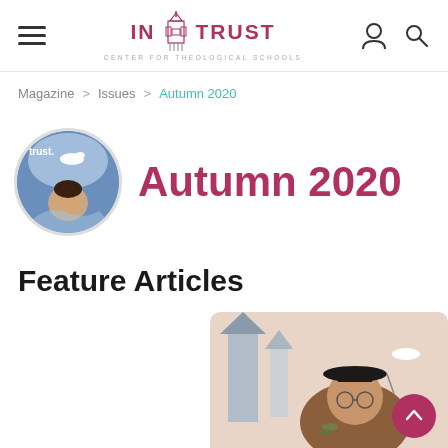IN TRUST CENTER FOR THEOLOGICAL SCHOOLS
Magazine > Issues > Autumn 2020
Autumn 2020
[Figure (illustration): Circular magazine cover thumbnail showing a person with a dove, colorful illustrated art]
Feature Articles
[Figure (illustration): Bottom partial image of a person wearing academic regalia with a church steeple in the background, illustrated style]